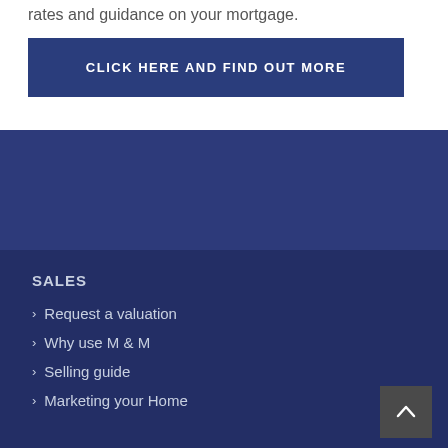rates and guidance on your mortgage.
CLICK HERE AND FIND OUT MORE
SALES
> Request a valuation
> Why use M & M
> Selling guide
> Marketing your Home